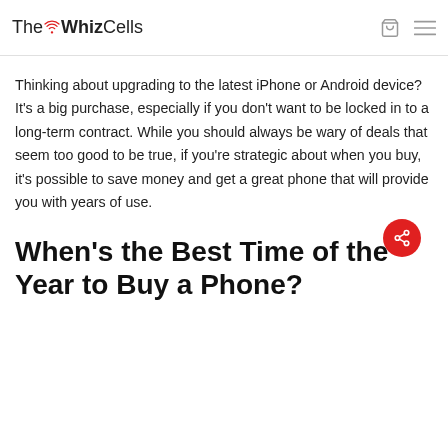The WhizCells
Thinking about upgrading to the latest iPhone or Android device? It's a big purchase, especially if you don't want to be locked in to a long-term contract. While you should always be wary of deals that seem too good to be true, if you're strategic about when you buy, it's possible to save money and get a great phone that will provide you with years of use.
When's the Best Time of the Year to Buy a Phone?